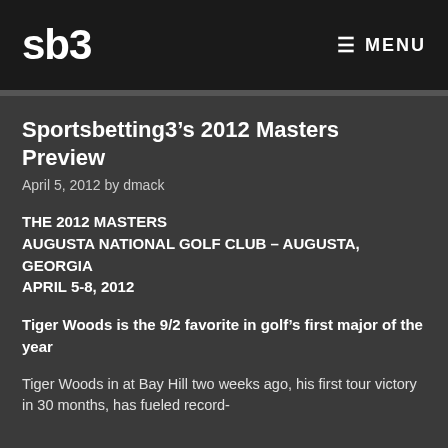sb3 | MENU
Sportsbetting3’s 2012 Masters Preview
April 5, 2012 by dmack
THE 2012 MASTERS
AUGUSTA NATIONAL GOLF CLUB – AUGUSTA, GEORGIA
APRIL 5-8, 2012
Tiger Woods is the 9/2 favorite in golf’s first major of the year
Tiger Woods in at Bay Hill two weeks ago, his first tour victory in 30 months, has fueled record-